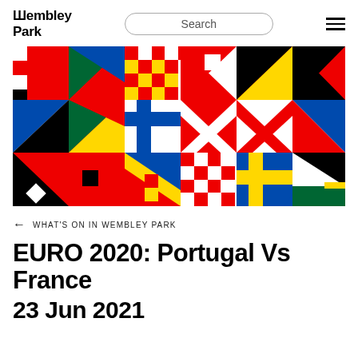Wembley Park
[Figure (illustration): Colorful geometric flag-pattern banner for UEFA EURO 2020, composed of red, blue, yellow, green, black and white triangles and rectangles arranged in a mosaic of European country flag motifs.]
← WHAT'S ON IN WEMBLEY PARK
EURO 2020: Portugal Vs France
23 Jun 2021